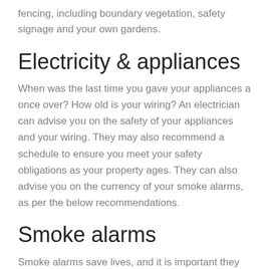fencing, including boundary vegetation, safety signage and your own gardens.
Electricity & appliances
When was the last time you gave your appliances a once over? How old is your wiring? An electrician can advise you on the safety of your appliances and your wiring. They may also recommend a schedule to ensure you meet your safety obligations as your property ages. They can also advise you on the currency of your smoke alarms, as per the below recommendations.
Smoke alarms
Smoke alarms save lives, and it is important they are in your investment home. Queensland